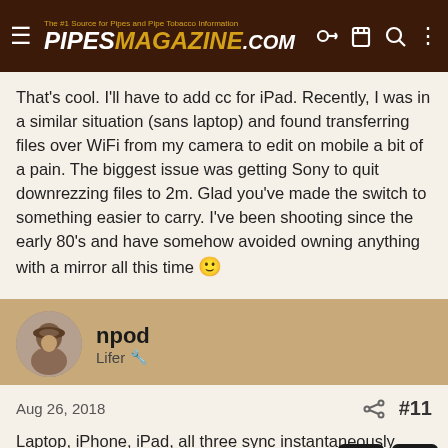[Figure (screenshot): PipesMagazine.com navigation bar with hamburger menu, logo, and icons]
That's cool. I'll have to add cc for iPad. Recently, I was in a similar situation (sans laptop) and found transferring files over WiFi from my camera to edit on mobile a bit of a pain. The biggest issue was getting Sony to quit downrezzing files to 2m. Glad you've made the switch to something easier to carry. I've been shooting since the early 80's and have somehow avoided owning anything with a mirror all this time 🙂
[Figure (photo): Round avatar photo of user npod showing a person wearing a hat]
npod
Lifer
Aug 26, 2018
#11
Laptop, iPhone, iPad, all three sync instantaneously when a change is made on one device. So cool.